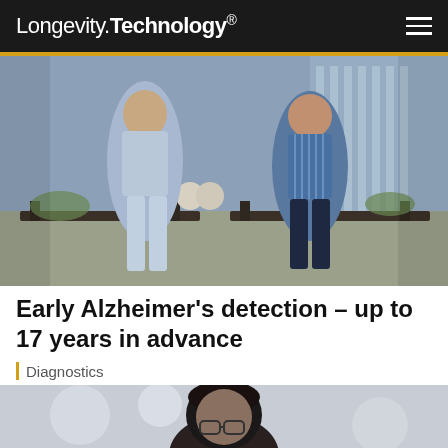Longevity.Technology®
[Figure (photo): Two men sitting on outdoor benches in front of a modern glass building. The man on the left wears a light blue linen shirt and light jeans; the man on the right wears a blue striped shirt and dark trousers. Both are smiling at the camera.]
Early Alzheimer's detection – up to 17 years in advance
Diagnostics
[Figure (photo): Partial view of a person with dark hair and glasses, photographed indoors with blurred background.]